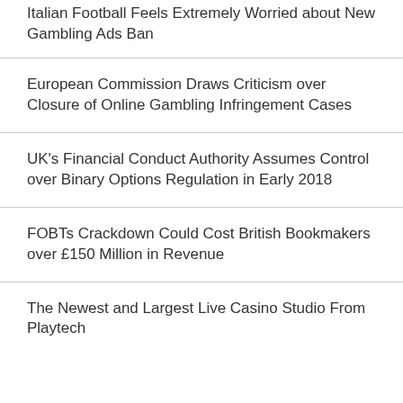Italian Football Feels Extremely Worried about New Gambling Ads Ban
European Commission Draws Criticism over Closure of Online Gambling Infringement Cases
UK's Financial Conduct Authority Assumes Control over Binary Options Regulation in Early 2018
FOBTs Crackdown Could Cost British Bookmakers over £150 Million in Revenue
The Newest and Largest Live Casino Studio From Playtech